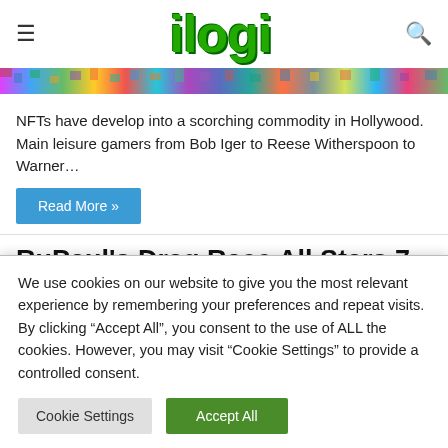ilogi
[Figure (illustration): Colorful pixelated/mosaic banner strip with many colors]
NFTs have develop into a scorching commodity in Hollywood. Main leisure gamers from Bob Iger to Reese Witherspoon to Warner…
Read More »
RuPaul's Drag Race All Stars 7
We use cookies on our website to give you the most relevant experience by remembering your preferences and repeat visits. By clicking "Accept All", you consent to the use of ALL the cookies. However, you may visit "Cookie Settings" to provide a controlled consent.